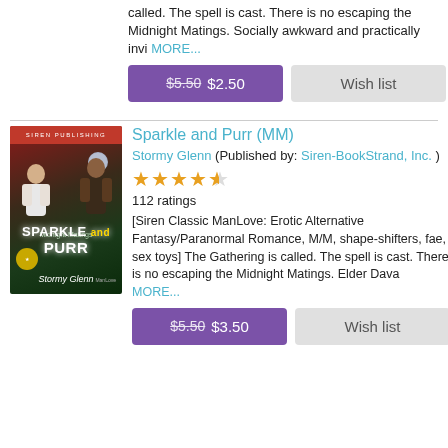called. The spell is cast. There is no escaping the Midnight Matings. Socially awkward and practically invi MORE...
$5.50 $2.50
Wish list
Sparkle and Purr (MM)
Stormy Glenn (Published by: Siren-BookStrand, Inc. )
112 ratings
[Siren Classic ManLove: Erotic Alternative Fantasy/Paranormal Romance, M/M, shape-shifters, fae, sex toys] The Gathering is called. The spell is cast. There is no escaping the Midnight Matings. Elder Dava MORE...
$5.50 $3.50
Wish list
[Figure (illustration): Book cover for Sparkle and Purr by Stormy Glenn, showing two male figures and a moon against a dark fantasy background with red banner at top reading SIREN PUBLISHING]